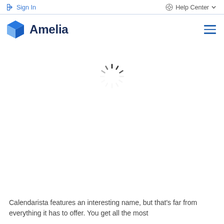Sign In   Help Center
[Figure (logo): Amelia logo with blue hexagonal cube icon and bold dark navy text 'Amelia']
[Figure (other): Spinning loading indicator (circular dashed spinner)]
Calendarista features an interesting name, but that's far from everything it has to offer. You get all the most